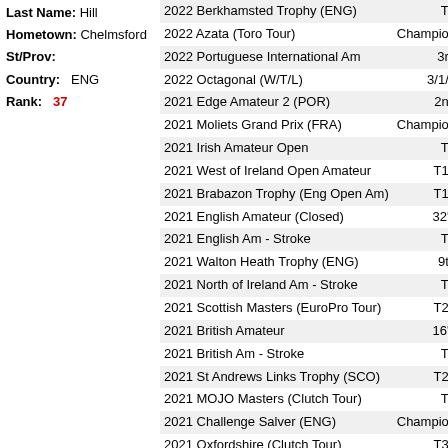Last Name: Hill
Hometown: Chelmsford
St/Prov:
Country: ENG
Rank: 37
| Tournament | Result |
| --- | --- |
| 2022 Berkhamsted Trophy (ENG) | T3 |
| 2022 Azata (Toro Tour) | Champion |
| 2022 Portuguese International Am | 3rd |
| 2022 Octagonal (W/T/L) | 3/1/2 |
| 2021 Edge Amateur 2 (POR) | 2nd |
| 2021 Moliets Grand Prix (FRA) | Champion |
| 2021 Irish Amateur Open | T6 |
| 2021 West of Ireland Open Amateur | T12 |
| 2021 Brabazon Trophy (Eng Open Am) | T12 |
| 2021 English Amateur (Closed) | 32's |
| 2021 English Am - Stroke | T7 |
| 2021 Walton Heath Trophy (ENG) | 9th |
| 2021 North of Ireland Am - Stroke | T8 |
| 2021 Scottish Masters (EuroPro Tour) | T29 |
| 2021 British Amateur | 16's |
| 2021 British Am - Stroke | T6 |
| 2021 St Andrews Links Trophy (SCO) | T23 |
| 2021 MOJO Masters (Clutch Tour) | T5 |
| 2021 Challenge Salver (ENG) | Champion |
| 2021 Oxfordshire (Clutch Tour) | T30 |
| 2021 The Belfry (Clutch Tour) | T2 |
| 2021 Triple A European Open (ESP) | Champion |
| 2021 Roda Classic (Evolve Tour) | T3 |
| 2021 La Serena Masters (Evolve Tour) | T8 |
| 2021 Spanish International Amateur | 32's |
| 2021 Azata (Toro Tour) | 2nd |
| 2020 Dundalk Scratch Cup (IRL) | T2 |
| 2020 British Amateur | 32s |